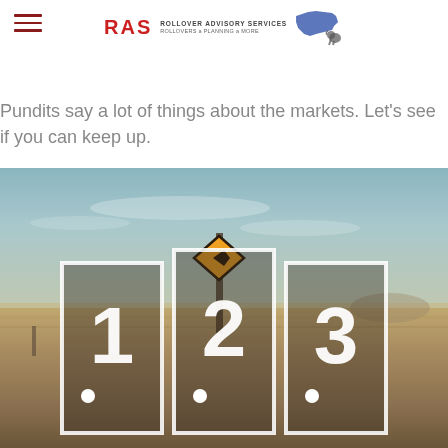[Figure (logo): RAS Rollover Advisory Services logo with Massachusetts state outline silhouette and small elephant icon]
Pundits say a lot of things about the markets. Let's see if you can keep up.
[Figure (photo): Desert road landscape background with three white-bordered cards showing numbers 1, 2, 3, each with a white dot beneath. A diamond-shaped directional arrow road sign is visible behind the middle card.]